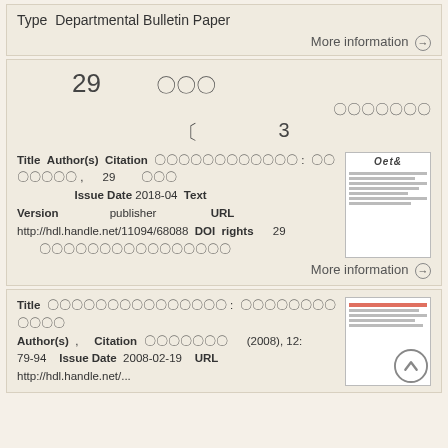Type Departmental Bulletin Paper
More information →
29  〇〇〇
〇〇〇〇〇〇〇
〔  3
Title Author(s) Citation 〇〇〇〇〇〇〇〇〇〇〇〇 : 〇〇〇〇〇〇〇 , 29 〇〇〇 Issue Date 2018-04 Text Version publisher URL http://hdl.handle.net/11094/68088 DOI rights 29 〇〇〇〇〇〇〇〇〇〇〇〇〇〇〇〇
More information →
Title 〇〇〇〇〇〇〇〇〇〇〇〇〇〇〇 : 〇〇〇〇〇〇〇〇〇〇〇〇 Author(s) , Citation 〇〇〇〇〇〇〇 (2008), 12: 79-94 Issue Date 2008-02-19 URL http://hdl.handle.net/...